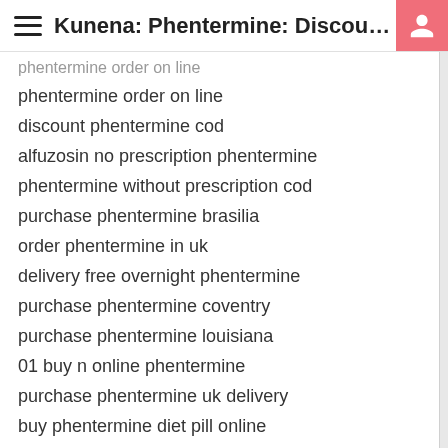≡  Kunena: Phentermine: Discou…
phentermine order on line
discount phentermine cod
alfuzosin no prescription phentermine
phentermine without prescription cod
purchase phentermine brasilia
order phentermine in uk
delivery free overnight phentermine
purchase phentermine coventry
purchase phentermine louisiana
01 buy n online phentermine
purchase phentermine uk delivery
buy phentermine diet pill online
discount phentermine free shipping
buy phentermine topiramato
purchase phentermine quebec city
purchase phentermine hawaii
purchase phentermine augusta
buy herbal phentermine right now!